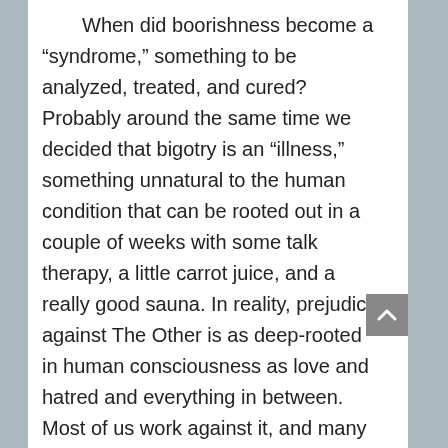When did boorishness become a “syndrome,” something to be analyzed, treated, and cured?  Probably around the same time we decided that bigotry is an “illness,” something unnatural to the human condition that can be rooted out in a couple of weeks with some talk therapy, a little carrot juice, and a really good sauna. In reality, prejudice against The Other is as deep-rooted in human consciousness as love and hatred and everything in between. Most of us work against it, and many even conquer it – though I would argue there are always new prejudices to conquer, and some that don’t even merit conquering. (I am prejudiced against child molesters, and I’m not even trying to quit!) The idea that someone needs